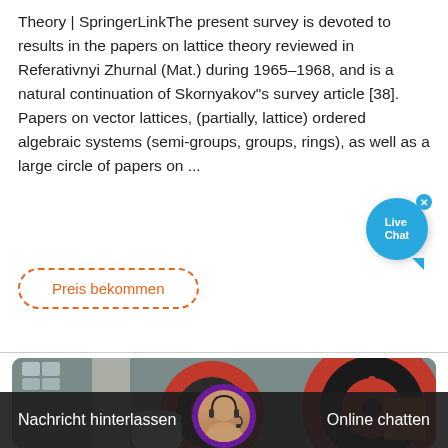Theory | SpringerLinkThe present survey is devoted to results in the papers on lattice theory reviewed in Referativnyi Zhurnal (Mat.) during 1965–1968, and is a natural continuation of Skornyakov"s survey article [38]. Papers on vector lattices, (partially, lattice) ordered algebraic systems (semi-groups, groups, rings), as well as a large circle of papers on ...
[Figure (other): Live Chat widget bubble in blue with close button]
Preis bekommen
[Figure (photo): Industrial/factory scene with large red and black machinery (rollers/wheels), showing a manufacturing facility interior with high ceilings and windows]
Nachricht hinterlassen
Online chatten